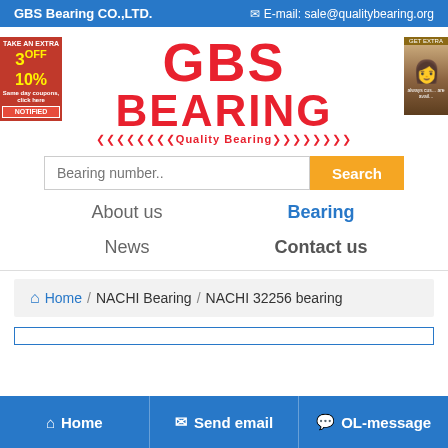GBS Bearing CO.,LTD.   E-mail: sale@qualitybearing.org
[Figure (logo): GBS Bearing logo with red bold text 'GBS' and 'BEARING' and tagline 'Quality Bearing' with chevron decorations]
Bearing number..  Search
About us
Bearing
News
Contact us
Home / NACHI Bearing / NACHI 32256 bearing
Home   Send email   OL-message